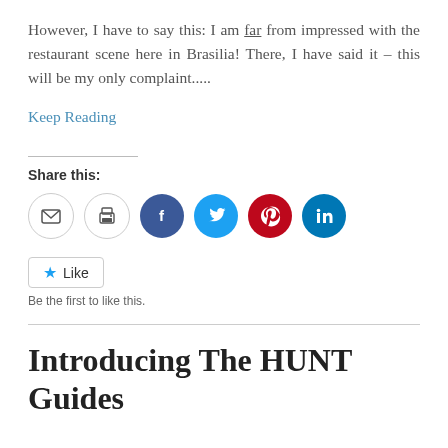However, I have to say this: I am far from impressed with the restaurant scene here in Brasilia! There, I have said it – this will be my only complaint.....
Keep Reading
Share this:
[Figure (infographic): Row of six circular social sharing icons: email (grey outline), print (grey outline), Facebook (blue), Twitter (light blue), Pinterest (red), LinkedIn (dark teal)]
Like
Be the first to like this.
Introducing The HUNT Guides